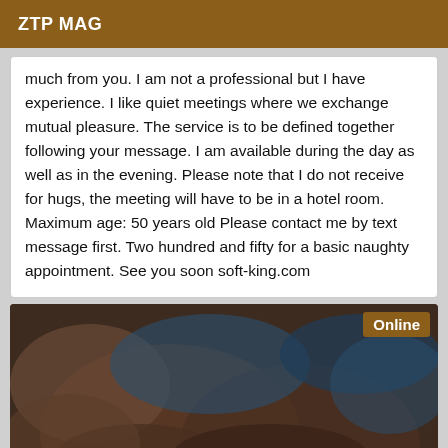ZTP MAG
much from you. I am not a professional but I have experience. I like quiet meetings where we exchange mutual pleasure. The service is to be defined together following your message. I am available during the day as well as in the evening. Please note that I do not receive for hugs, the meeting will have to be in a hotel room. Maximum age: 50 years old Please contact me by text message first. Two hundred and fifty for a basic naughty appointment. See you soon soft-king.com
[Figure (photo): A close-up photo of a person, partially obscured, with a blue fabric item. An 'Online' badge appears in the top-right corner.]